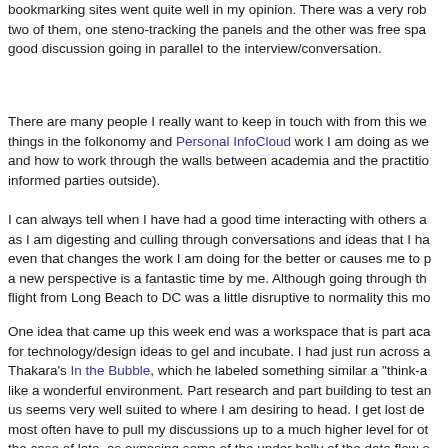bookmarking sites went quite well in my opinion. There was a very rob two of them, one steno-tracking the panels and the other was free spa good discussion going in parallel to the interview/conversation.
There are many people I really want to keep in touch with from this we things in the folkonomy and Personal InfoCloud work I am doing as we and how to work through the walls between academia and the practitio informed parties outside).
I can always tell when I have had a good time interacting with others a as I am digesting and culling through conversations and ideas that I ha even that changes the work I am doing for the better or causes me to p a new perspective is a fantastic time by me. Although going through th flight from Long Beach to DC was a little disruptive to normality this mo
One idea that came up this week end was a workspace that is part aca for technology/design ideas to gel and incubate. I had just run across a Thakara's In the Bubble, which he labeled something similar a "think-a like a wonderful environment. Part research and part building to test an us seems very well suited to where I am desiring to head. I get lost de most often have to pull my discussions up to a much higher level for ot the case of late, as exposing some of the under belly of the data flow o design elements really would have helped the cause, but I kept getting questions and answered there, such is life).